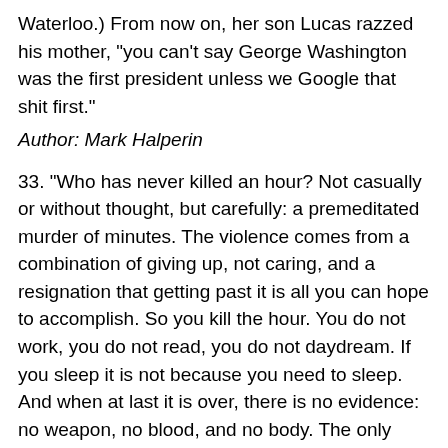Waterloo.) From now on, her son Lucas razzed his mother, "you can't say George Washington was the first president unless we Google that shit first."
Author: Mark Halperin
33. "Who has never killed an hour? Not casually or without thought, but carefully: a premeditated murder of minutes. The violence comes from a combination of giving up, not caring, and a resignation that getting past it is all you can hope to accomplish. So you kill the hour. You do not work, you do not read, you do not daydream. If you sleep it is not because you need to sleep. And when at last it is over, there is no evidence: no weapon, no blood, and no body. The only clue might be the shadows beneath your eyes or a terribly thin line near the corner of your mouth indicating something has been suffered, that in the privacy of your life you have lost something and the loss is too